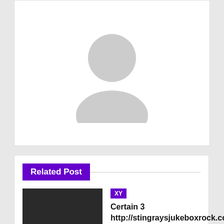[Figure (illustration): Gray default avatar/profile placeholder icon showing a silhouette of a person on white background]
Related Post
[Figure (photo): Dark/black thumbnail image placeholder for related post]
XY
Certain 3 http://stingraysjukeboxrock.com/candid-photos Probabilities Routine Free
J Sep, 2021
News4guruji